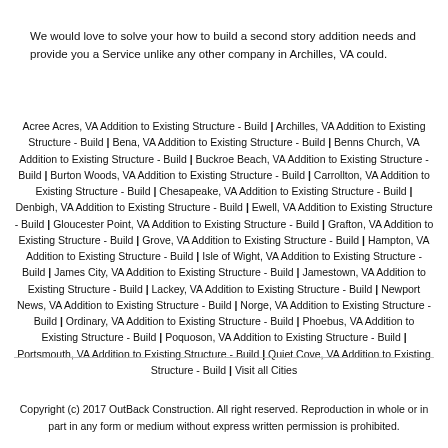We would love to solve your how to build a second story addition needs and provide you a Service unlike any other company in Archilles, VA could.
Acree Acres, VA Addition to Existing Structure - Build | Archilles, VA Addition to Existing Structure - Build | Bena, VA Addition to Existing Structure - Build | Benns Church, VA Addition to Existing Structure - Build | Buckroe Beach, VA Addition to Existing Structure - Build | Burton Woods, VA Addition to Existing Structure - Build | Carrollton, VA Addition to Existing Structure - Build | Chesapeake, VA Addition to Existing Structure - Build | Denbigh, VA Addition to Existing Structure - Build | Ewell, VA Addition to Existing Structure - Build | Gloucester Point, VA Addition to Existing Structure - Build | Grafton, VA Addition to Existing Structure - Build | Grove, VA Addition to Existing Structure - Build | Hampton, VA Addition to Existing Structure - Build | Isle of Wight, VA Addition to Existing Structure - Build | James City, VA Addition to Existing Structure - Build | Jamestown, VA Addition to Existing Structure - Build | Lackey, VA Addition to Existing Structure - Build | Newport News, VA Addition to Existing Structure - Build | Norge, VA Addition to Existing Structure - Build | Ordinary, VA Addition to Existing Structure - Build | Phoebus, VA Addition to Existing Structure - Build | Poquoson, VA Addition to Existing Structure - Build | Portsmouth, VA Addition to Existing Structure - Build | Quiet Cove, VA Addition to Existing Structure - Build | Visit all Cities
Copyright (c) 2017 OutBack Construction. All right reserved. Reproduction in whole or in part in any form or medium without express written permission is prohibited.